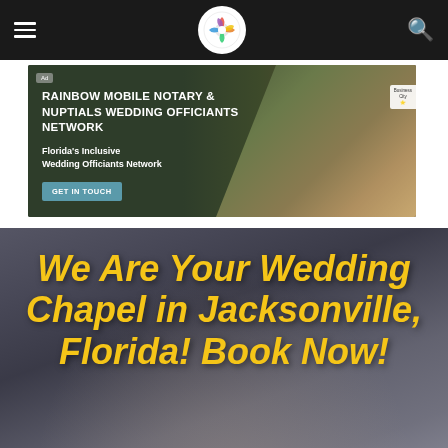Navigation header with hamburger menu, circular logo, and search icon
[Figure (screenshot): Rainbow Mobile Notary & Nuptials Wedding Officiants Network banner ad showing a couple silhouetted at sunset with text: 'RAINBOW MOBILE NOTARY & NUPTIALS WEDDING OFFICIANTS NETWORK', 'Florida's Inclusive Wedding Officiants Network', and a 'GET IN TOUCH' button]
We Are Your Wedding Chapel in Jacksonville, Florida! Book Now!